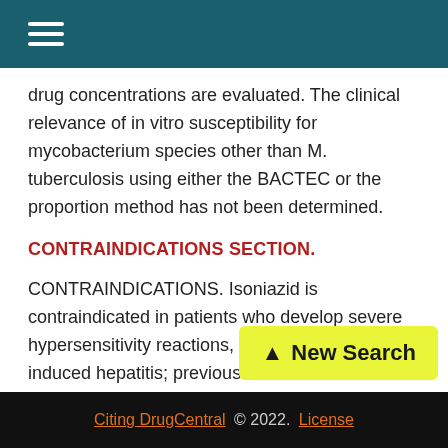≡ (hamburger menu icon)
drug concentrations are evaluated. The clinical relevance of in vitro susceptibility for mycobacterium species other than M. tuberculosis using either the BACTEC or the proportion method has not been determined.
CONTRAINDICATIONS SECTION.
CONTRAINDICATIONS. Isoniazid is contraindicated in patients who develop severe hypersensitivity reactions, including drug-induced hepatitis; previous isoniazid-associated hepatic injury; severe adv[erse reactions to] isoniazid such as drug fever, chills, ar[thritis, and acute liver]
Citing DrugCentral © 2022. License